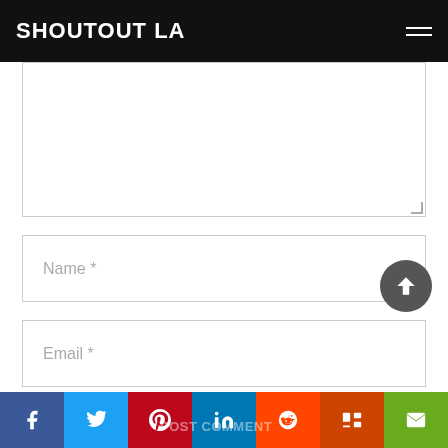SHOUTOUT LA
[Figure (screenshot): Comment form with textarea (partially visible at top), Name field, Email field, Website field, checkbox for saving info, and submit button area]
Name *
Email *
Website
Save my name, email, and website in this browser for the next time I comment.
Social share bar: Facebook, Twitter, Pinterest, LinkedIn, Reddit, Mix, Email